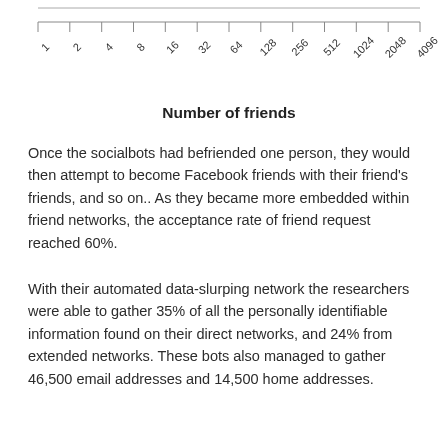[Figure (other): Bottom portion of a chart showing x-axis with tick labels for powers of 2 from 1 to 4096 and x-axis label 'Number of friends']
Once the socialbots had befriended one person, they would then attempt to become Facebook friends with their friend's friends, and so on.. As they became more embedded within friend networks, the acceptance rate of friend request reached 60%.
With their automated data-slurping network the researchers were able to gather 35% of all the personally identifiable information found on their direct networks, and 24% from extended networks. These bots also managed to gather 46,500 email addresses and 14,500 home addresses.